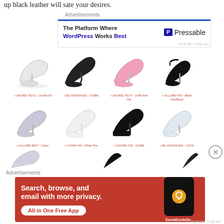up black leather will sate your desires.
Advertisements
[Figure (screenshot): Advertisement banner for Pressable WordPress hosting. Blue horizontal bar at top. Text: 'The Platform Where WordPress Works Best' with Pressable logo on right.]
REPORT THIS AD
[Figure (photo): Grid of high-heel shoe product images with red product labels. Row 1: clear platform heel (ADORE-702-2-Clr-RD/Clr), black spiral heel (BLOSSOM-601-Clr/Blk), pink platform (ADORE-701-4-Clr/B.Pink Gltr), black ankle-strap heel (ALLURE-670-Black Pat/Black). Row 2: silver clear heel (ALLURE-801T-Clear-Glitter/Clear), white platform (CANDY-40-White Pat), black platform (ADORE-702-Clr/Blk), clear platform (BLOSSOM-602-Clr/Clr). Row 3 (partial): three partial shoe images visible.]
Advertisements
[Figure (screenshot): DuckDuckGo advertisement on orange/red background. Text: 'Search, browse, and email with more privacy. All in One Free App' with DuckDuckGo logo and phone mockup on right.]